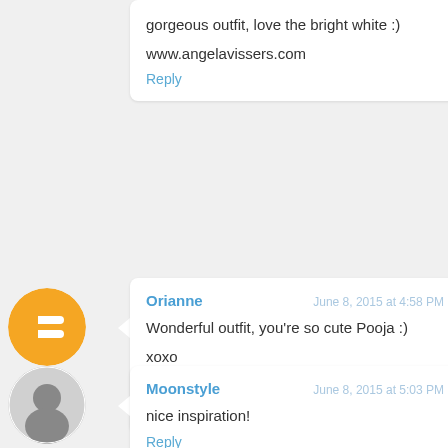gorgeous outfit, love the bright white :)

www.angelavissers.com
Reply
[Figure (other): Blogger logo avatar - orange circle with white B icon]
Orianne
June 8, 2015 at 4:58 PM
Wonderful outfit, you're so cute Pooja :)

xoxo

Orianne
Reply
[Figure (photo): Black and white photo avatar of a woman]
Moonstyle
June 8, 2015 at 5:03 PM
nice inspiration!
Reply